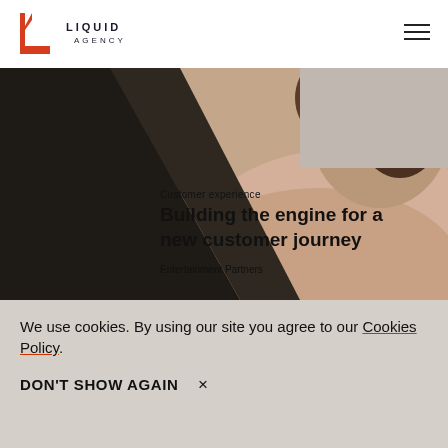[Figure (logo): Liquid Agency logo — red stylized L mark with LIQUID AGENCY text in dark sans-serif]
[Figure (photo): Hero image showing a person with curly hair wearing a peach/cream knit sweater, with dark background on left. A diagonal black shape cuts across the left side. Text overlaid: 'Customer experience', 'Building the engine for a new customer journey', 'Entertainment Partners']
We use cookies. By using our site you agree to our Cookies Policy.
DON'T SHOW AGAIN  ×